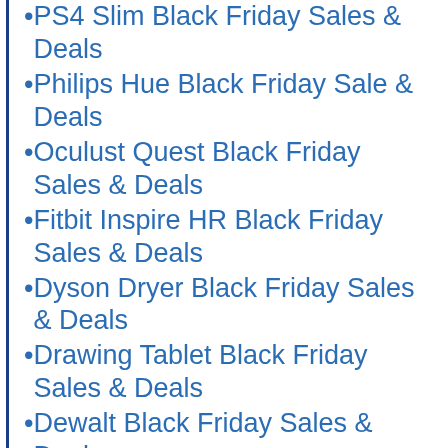PS4 Slim Black Friday Sales & Deals
Philips Hue Black Friday Sale & Deals
Oculust Quest Black Friday Sales & Deals
Fitbit Inspire HR Black Friday Sales & Deals
Dyson Dryer Black Friday Sales & Deals
Drawing Tablet Black Friday Sales & Deals
Dewalt Black Friday Sales & Deals
Dell XPS Black Friday Seals & Deals